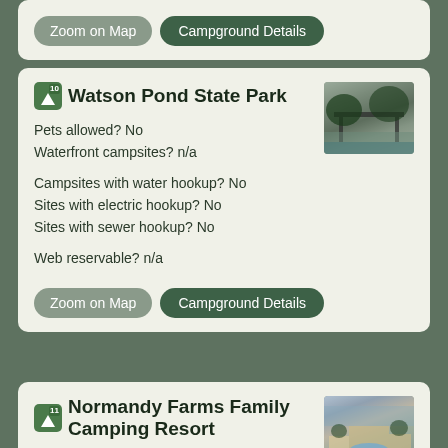Zoom on Map  Campground Details
Watson Pond State Park
[Figure (photo): Outdoor covered pavilion/shelter area with trees and water in background]
Pets allowed? No
Waterfront campsites? n/a
Campsites with water hookup? No
Sites with electric hookup? No
Sites with sewer hookup? No
Web reservable? n/a
Zoom on Map  Campground Details
Normandy Farms Family Camping Resort
[Figure (photo): Aerial view of camping resort with pool and facilities]